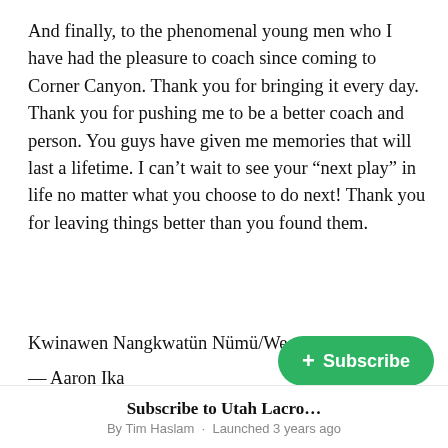And finally, to the phenomenal young men who I have had the pleasure to coach since coming to Corner Canyon. Thank you for bringing it every day. Thank you for pushing me to be a better coach and person. You guys have given me memories that will last a lifetime. I can't wait to see your “next play” in life no matter what you choose to do next! Thank you for leaving things better than you found them.
Kwinawen Nangkwatün Nümü/We are One
— Aaron Ika
See past winners here.
+ Subscribe
Subscribe to Utah Lacro…
By Tim Haslam · Launched 3 years ago